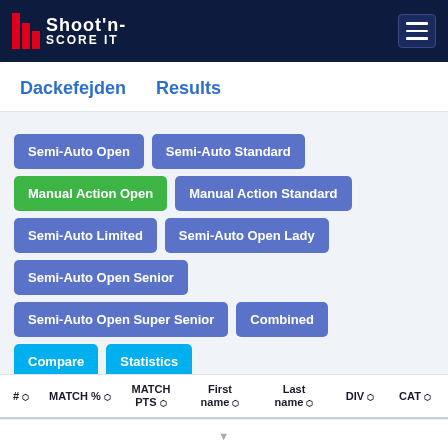Shoot'n-Score It — navigation header
Dackefejden  Results
Semi-Auto Open
Semi-Auto Standard
Manual Action Open (active)
Manual Action Standard
Semi-Auto Limited
Semi-Auto Open Lady
Semi-Auto Open Senior
Semi-Auto Open Super Senior
Combined
Compare
Statistics
| # | MATCH % | MATCH PTS | First name | Last name | DIV | CAT |  |
| --- | --- | --- | --- | --- | --- | --- | --- |